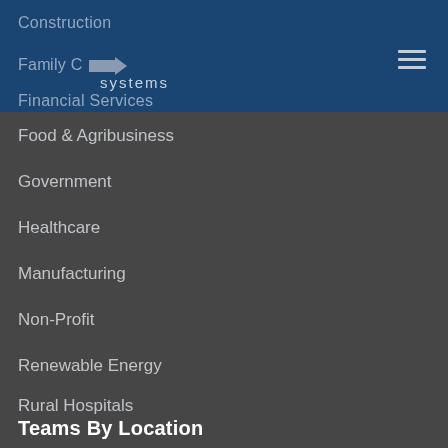Construction
Family C systems
Financial Services
Food & Agribusiness
Government
Healthcare
Manufacturing
Non-Profit
Renewable Energy
Rural Hospitals
Transportation
Teams By Location